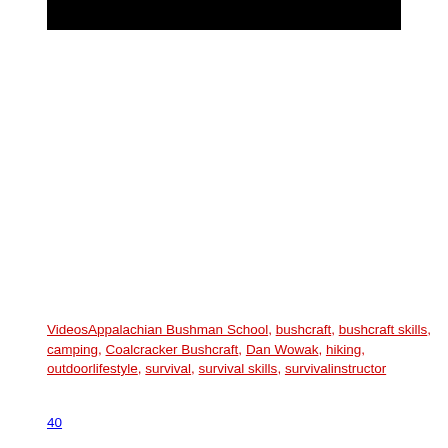[Figure (other): Black rectangular bar at top of page]
VideosAppalachian Bushman School, bushcraft, bushcraft skills, camping, Coalcracker Bushcraft, Dan Wowak, hiking, outdoorlifestyle, survival, survival skills, survivalinstructor
40